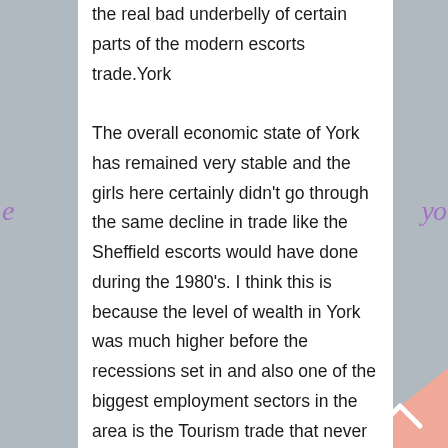the real bad underbelly of certain parts of the modern escorts trade.York

The overall economic state of York has remained very stable and the girls here certainly didn't go through the same decline in trade like the Sheffield escorts would have done during the 1980's. I think this is because the level of wealth in York was much higher before the recessions set in and also one of the biggest employment sectors in the area is the Tourism trade that never really suffered any way thanks to the large amount of overseas visitors that York receives each